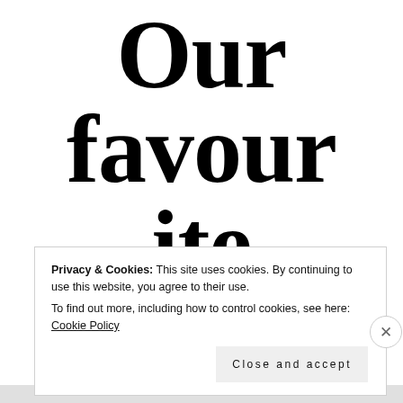Our favourite
A…
Privacy & Cookies: This site uses cookies. By continuing to use this website, you agree to their use.
To find out more, including how to control cookies, see here: Cookie Policy
Close and accept